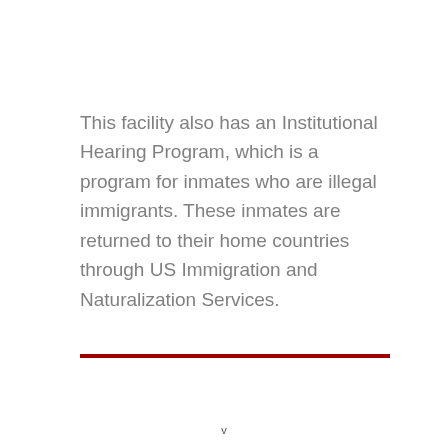This facility also has an Institutional Hearing Program, which is a program for inmates who are illegal immigrants. These inmates are returned to their home countries through US Immigration and Naturalization Services.
v